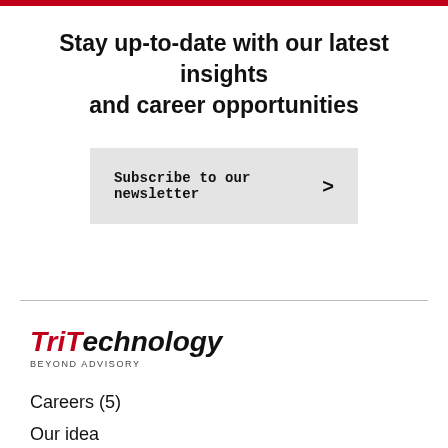Stay up-to-date with our latest insights and career opportunities
Subscribe to our newsletter >
[Figure (logo): TriTechnology logo with tagline BEYOND ADVISORY]
Careers (5)
Our idea